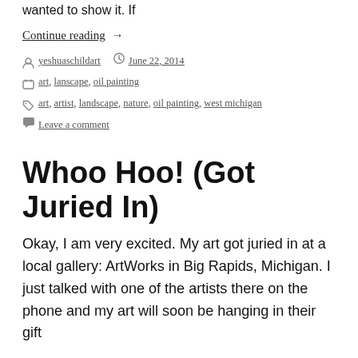wanted to show it. If
Continue reading  →
By yeshuaschildart   June 22, 2014
Categories: art, lanscape, oil painting
Tags: art, artist, landscape, nature, oil painting, west michigan
Leave a comment
Whoo Hoo! (Got Juried In)
Okay, I am very excited. My art got juried in at a local gallery: ArtWorks in Big Rapids, Michigan. I just talked with one of the artists there on the phone and my art will soon be hanging in their gift